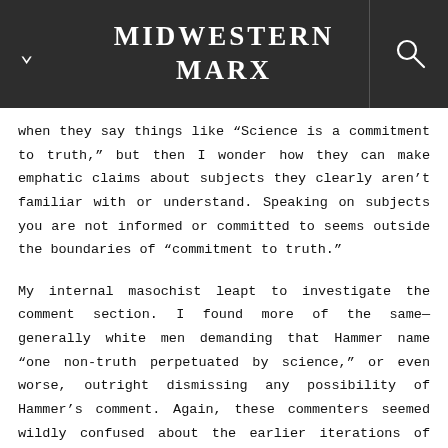MIDWESTERN MARX
when they say things like “Science is a commitment to truth,” but then I wonder how they can make emphatic claims about subjects they clearly aren’t familiar with or understand. Speaking on subjects you are not informed or committed to seems outside the boundaries of “commitment to truth.”
My internal masochist leapt to investigate the comment section. I found more of the same—generally white men demanding that Hammer name “one non-truth perpetuated by science,” or even worse, outright dismissing any possibility of Hammer’s comment. Again, these commenters seemed wildly confused about the earlier iterations of science. They seemed ignorant of how